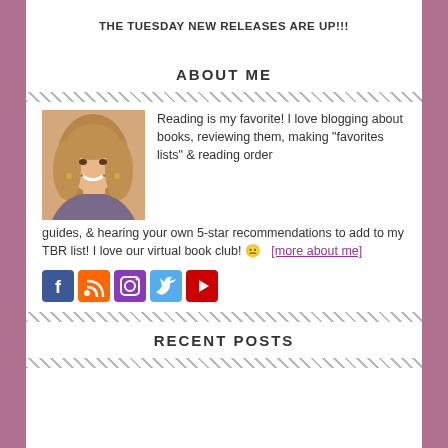THE TUESDAY NEW RELEASES ARE UP!!!
ABOUT ME
[Figure (photo): Woman with blonde hair smiling, personal photo for blog About Me section]
Reading is my favorite! I love blogging about books, reviewing them, making "favorites lists" & reading order guides, & hearing your own 5-star recommendations to add to my TBR list! I love our virtual book club! 😐  [more about me]
[Figure (other): Social media icons: Facebook, RSS, Instagram, Twitter, YouTube]
RECENT POSTS